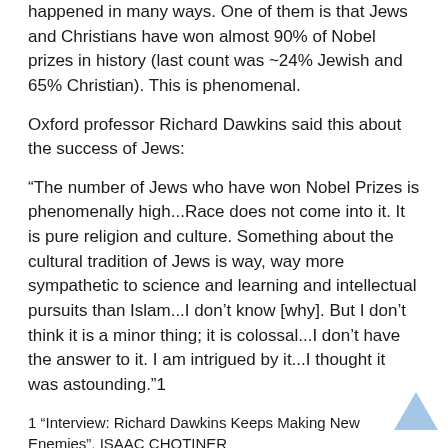happened in many ways. One of them is that Jews and Christians have won almost 90% of Nobel prizes in history (last count was ~24% Jewish and 65% Christian). This is phenomenal.
Oxford professor Richard Dawkins said this about the success of Jews:
“The number of Jews who have won Nobel Prizes is phenomenally high...Race does not come into it. It is pure religion and culture. Something about the cultural tradition of Jews is way, way more sympathetic to science and learning and intellectual pursuits than Islam...I don’t know [why]. But I don’t think it is a minor thing; it is colossal...I don’t have the answer to it. I am intrigued by it...I thought it was astounding.”1
1 “Interview: Richard Dawkins Keeps Making New Enemies”, ISAAC CHOTINER